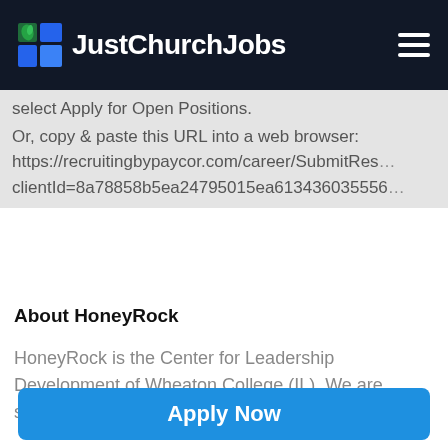JustChurchJobs
select Apply for Open Positions.
Or, copy & paste this URL into a web browser:
https://recruitingbypaycor.com/career/SubmitRes...
clientId=8a78858b5ea24795015ea613436035560...
About HoneyRock
HoneyRock is the Center for Leadership Development of Wheaton College (IL). We are situated in northern WI.
Apply Now